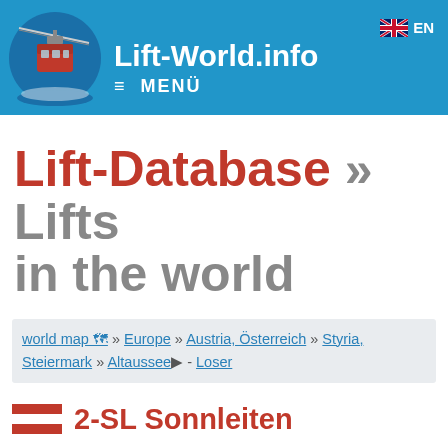Lift-World.info  ≡ MENÜ  EN
Lift-Database » Lifts in the world
world map 🗺 » Europe » Austria, Österreich » Styria, Steiermark » Altaussee ▶ - Loser
2-SL Sonnleiten